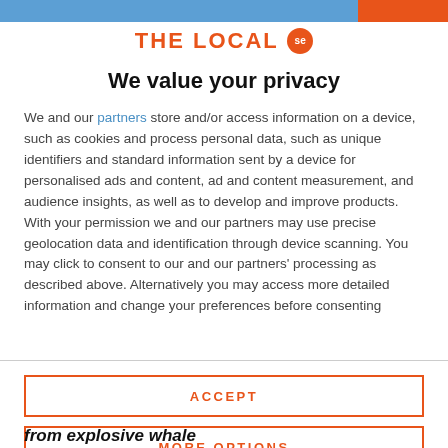THE LOCAL se
We value your privacy
We and our partners store and/or access information on a device, such as cookies and process personal data, such as unique identifiers and standard information sent by a device for personalised ads and content, ad and content measurement, and audience insights, as well as to develop and improve products. With your permission we and our partners may use precise geolocation data and identification through device scanning. You may click to consent to our and our partners' processing as described above. Alternatively you may access more detailed information and change your preferences before consenting
ACCEPT
MORE OPTIONS
from explosive whale